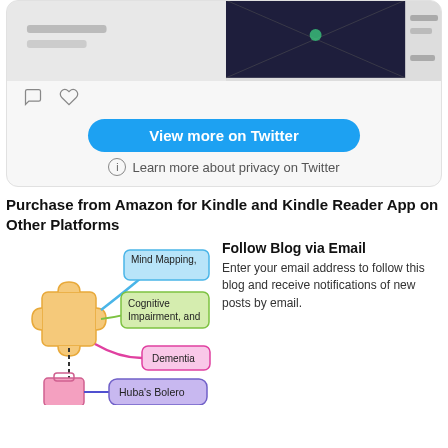[Figure (screenshot): Twitter widget showing a tweet with an image (dark background with light elements), comment and like icons, a blue 'View more on Twitter' button, and a privacy notice 'Learn more about privacy on Twitter'.]
Purchase from Amazon for Kindle and Kindle Reader App on Other Platforms
[Figure (infographic): Mind map illustration showing a central puzzle piece icon connected to branches: 'Mind Mapping,' (blue box), 'Cognitive Impairment, and' (green box), 'Dementia' (pink box), and below a small briefcase icon connected to 'Huba's Bolero' (purple box).]
Follow Blog via Email
Enter your email address to follow this blog and receive notifications of new posts by email.